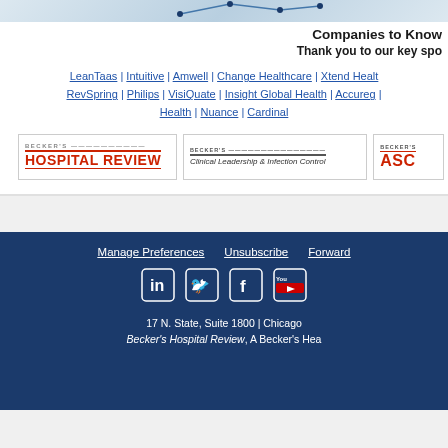[Figure (other): Partial network/chart graphic at top of page]
Companies to Know
Thank you to our key spo
LeanTaas | Intuitive | Amwell | Change Healthcare | Xtend Health RevSpring | Philips | VisiQuate | Insight Global Health | Accureg | Health | Nuance | Cardinal
[Figure (logo): Becker's Hospital Review logo]
[Figure (logo): Becker's Clinical Leadership & Infection Control logo]
[Figure (logo): Becker's ASC logo (partial)]
Manage Preferences    Unsubscribe    Forward
[Figure (other): Social media icons: LinkedIn, Twitter, Facebook, YouTube]
17 N. State, Suite 1800 | Chicago
Becker's Hospital Review, A Becker's Hea